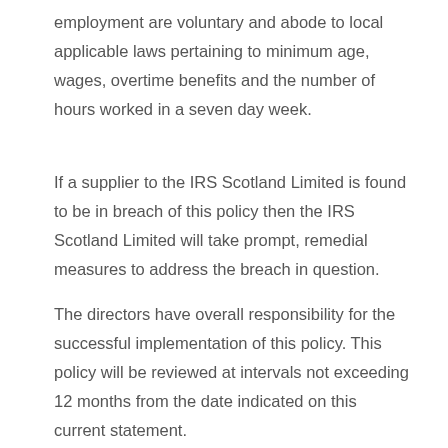employment are voluntary and abode to local applicable laws pertaining to minimum age, wages, overtime benefits and the number of hours worked in a seven day week.
If a supplier to the IRS Scotland Limited is found to be in breach of this policy then the IRS Scotland Limited will take prompt, remedial measures to address the breach in question.
The directors have overall responsibility for the successful implementation of this policy. This policy will be reviewed at intervals not exceeding 12 months from the date indicated on this current statement.